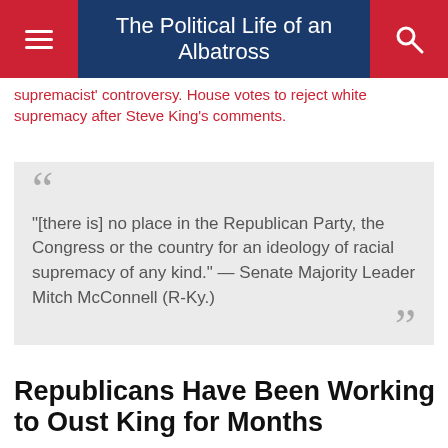The Political Life of an Albatross
supremacist' controversy. House votes to reject white supremacy after Steve King's comments.
"[there is] no place in the Republican Party, the Congress or the country for an ideology of racial supremacy of any kind." — Senate Majority Leader Mitch McConnell (R-Ky.)
Republicans Have Been Working to Oust King for Months
Some have been working against King for years.
Even before the Times comments, Republican leadership was already intent on stripping King of committee positions. Speaker Paul Ryan, for one, began laying the groundwork for this week's